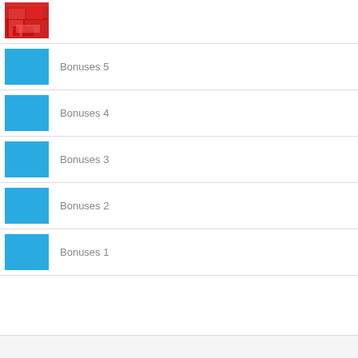[Figure (photo): Small thumbnail of a red kitchen with red cabinets and island]
Bonuses 5
Bonuses 4
Bonuses 3
Bonuses 2
Bonuses 1